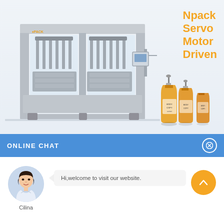[Figure (photo): Npack servo motor driven filling machine — large stainless steel multi-head liquid filling machine with control panel, shown alongside three amber/orange pump-top bottles of varying sizes.]
Npack Servo Motor Driven
ONLINE CHAT
[Figure (photo): Avatar photo of a young woman named Cilina in a white blouse, used as a customer service representative icon.]
Hi,welcome to visit our website.
Cilina